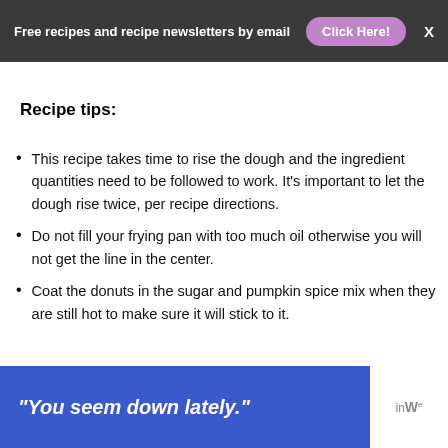Free recipes and recipe newsletters by email  Click Here!  X
Recipe tips:
This recipe takes time to rise the dough and the ingredient quantities need to be followed to work. It's important to let the dough rise twice, per recipe directions.
Do not fill your frying pan with too much oil otherwise you will not get the line in the center.
Coat the donuts in the sugar and pumpkin spice mix when they are still hot to make sure it will stick to it.
[Figure (infographic): Ad banner with text 'You seem down lately.' on blue background with logo mark on right]